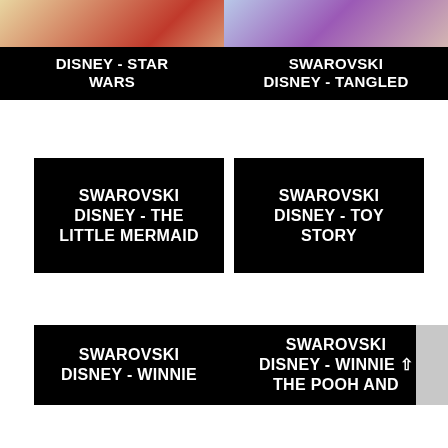[Figure (photo): Photo of Disney Star Wars figurine with black label overlay reading DISNEY - STAR WARS]
[Figure (photo): Photo of Swarovski Disney Tangled figurine with black label overlay reading SWAROVSKI DISNEY - TANGLED]
[Figure (other): Black label box reading SWAROVSKI DISNEY - THE LITTLE MERMAID]
[Figure (other): Black label box reading SWAROVSKI DISNEY - TOY STORY]
[Figure (other): Black label box reading SWAROVSKI DISNEY - WINNIE]
[Figure (other): Black label box reading SWAROVSKI DISNEY - WINNIE THE POOH AND with scroll indicator]